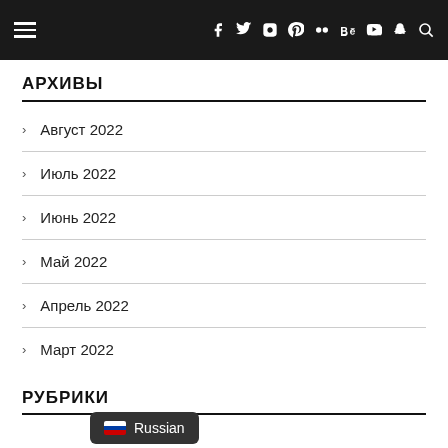Navigation header with hamburger menu and social icons
АРХИВЫ
Август 2022
Июль 2022
Июнь 2022
Май 2022
Апрель 2022
Март 2022
РУБРИКИ
Russian